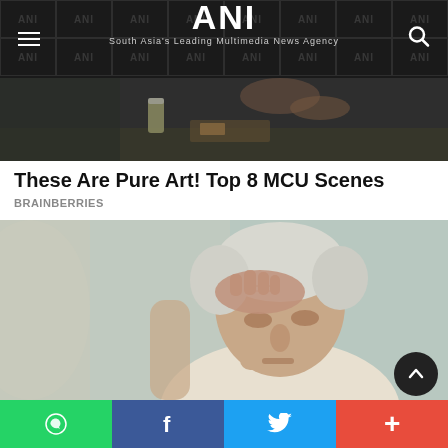ANI — South Asia's Leading Multimedia News Agency
[Figure (photo): Top portion of a movie or TV scene showing two people at a table with food and a can]
These Are Pure Art! Top 8 MCU Scenes
BRAINBERRIES
[Figure (photo): Elderly man with white hair pressing his hand to his forehead, looking distressed]
Social share bar: WhatsApp, Facebook, Twitter, More